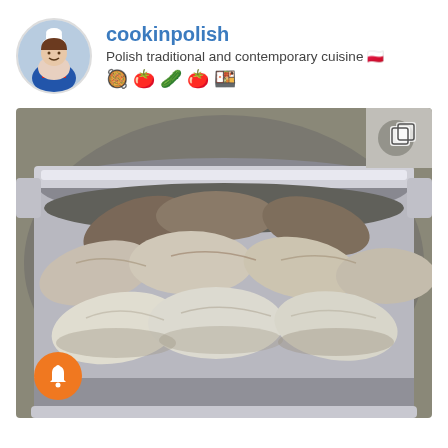[Figure (photo): Instagram profile header with circular avatar showing a woman in chef hat, username 'cookinpolish', bio 'Polish traditional and contemporary cuisine' with Polish flag emoji and food emojis]
cookinpolish
Polish traditional and contemporary cuisine 🇵🇱 🥘 🍅 🥒 🍅 🍱
[Figure (photo): Photo of stuffed cabbage rolls (gołąbki) packed tightly in a large stainless steel pot, viewed from above. A multi-photo icon is visible in the top right corner. An orange notification/bell button is visible in the bottom left corner.]